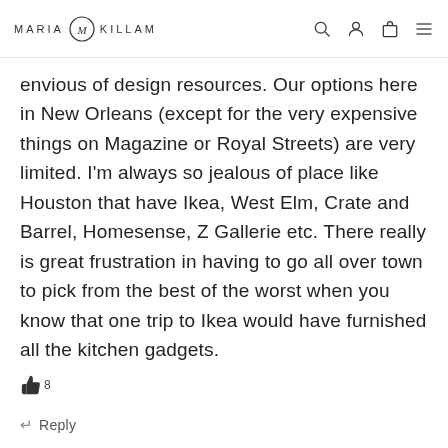MARIA KILLAM
envious of design resources. Our options here in New Orleans (except for the very expensive things on Magazine or Royal Streets) are very limited. I'm always so jealous of place like Houston that have Ikea, West Elm, Crate and Barrel, Homesense, Z Gallerie etc. There really is great frustration in having to go all over town to pick from the best of the worst when you know that one trip to Ikea would have furnished all the kitchen gadgets.
👍 8
↵ Reply